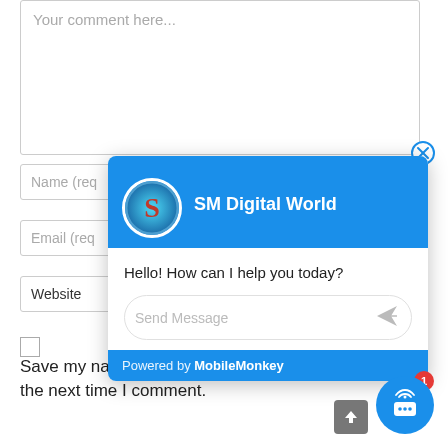[Figure (screenshot): Comment form textarea with placeholder text 'Your comment here...' and a close (X) button at bottom right]
Your comment here...
Name (req
Email (req
Website
[Figure (screenshot): MobileMonkey chat widget popup with SM Digital World header, avatar, greeting message 'Hello! How can I help you today?', Send Message input field, and 'Powered by MobileMonkey' footer]
SM Digital World
Hello! How can I help you today?
Send Message
Powered by MobileMonkey
Save my name, email, and website in this bro the next time I comment.